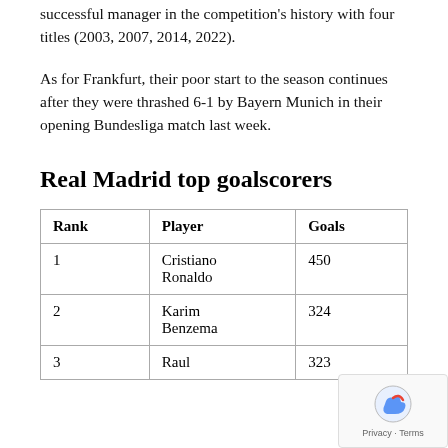successful manager in the competition's history with four titles (2003, 2007, 2014, 2022).
As for Frankfurt, their poor start to the season continues after they were thrashed 6-1 by Bayern Munich in their opening Bundesliga match last week.
Real Madrid top goalscorers
| Rank | Player | Goals |
| --- | --- | --- |
| 1 | Cristiano Ronaldo | 450 |
| 2 | Karim Benzema | 324 |
| 3 | Raul | 323 |